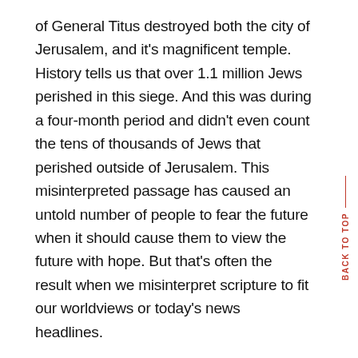of General Titus destroyed both the city of Jerusalem, and it's magnificent temple. History tells us that over 1.1 million Jews perished in this siege. And this was during a four-month period and didn't even count the tens of thousands of Jews that perished outside of Jerusalem. This misinterpreted passage has caused an untold number of people to fear the future when it should cause them to view the future with hope. But that's often the result when we misinterpret scripture to fit our worldviews or today's news headlines.
Context Is Important
Now obviously, there's a lot going on in Matthew...